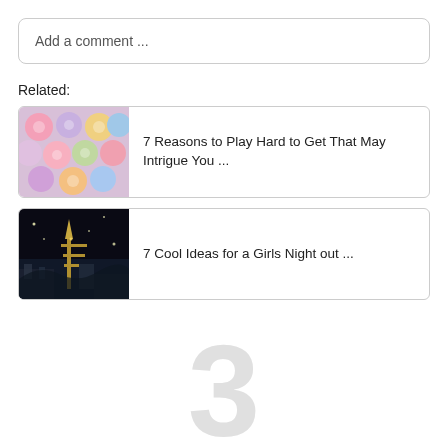Add a comment ...
Related:
[Figure (photo): Colorful candy hearts/cupcakes thumbnail]
7 Reasons to Play Hard to Get That May Intrigue You ...
[Figure (photo): Night photo of Eiffel Tower thumbnail]
7 Cool Ideas for a Girls Night out ...
3